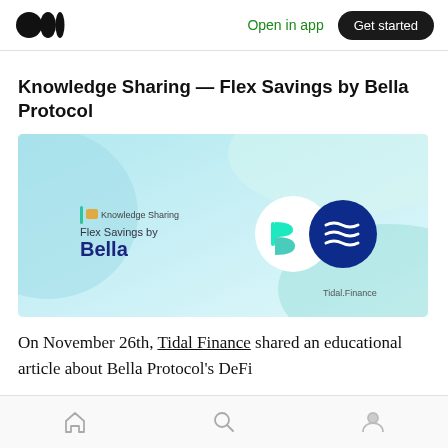Open in app | Get started
Knowledge Sharing — Flex Savings by Bella Protocol
[Figure (illustration): Promotional banner image for Knowledge Sharing — Flex Savings by Bella Protocol, featuring a light blue gradient background with the Bella logo (teal B icon), text reading 'Knowledge Sharing' with a green bar, 'Flex Savings by Bella' in bold navy, and two circular logos (Bella and Tidal Finance) on the right, with 'Tidal.Finance' text at bottom right.]
On November 26th, Tidal Finance shared an educational article about Bella Protocol's DeFi
Home | Search | Profile